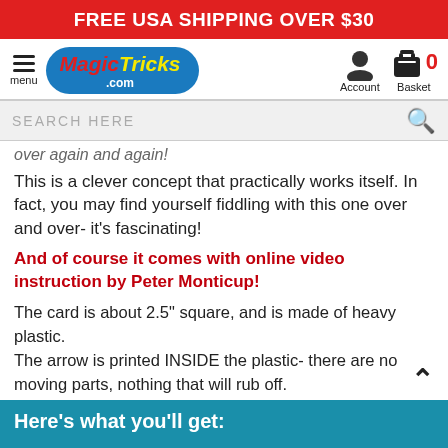FREE USA SHIPPING OVER $30
[Figure (logo): MagicTricks.com logo with hamburger menu, account and basket icons]
SEARCH HERE
over again and again!
This is a clever concept that practically works itself. In fact, you may find yourself fiddling with this one over and over- it's fascinating!
And of course it comes with online video instruction by Peter Monticup!
The card is about 2.5" square, and is made of heavy plastic.
The arrow is printed INSIDE the plastic- there are no moving parts, nothing that will rub off.
This card will last through years of use.
And you'll use it a lot!
Here's what you'll get: